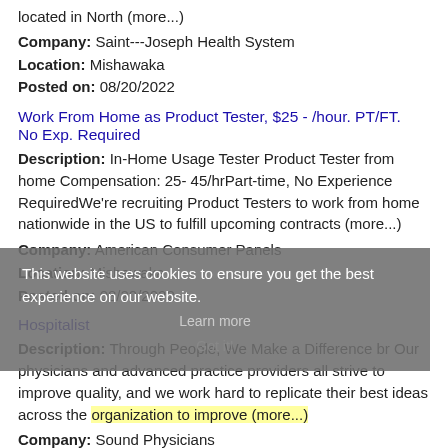located in North (more...)
Company: Saint---Joseph Health System
Location: Mishawaka
Posted on: 08/20/2022
Work From Home as Product Tester, $25 - /hour. PT/FT. No Exp. Required
Description: In-Home Usage Tester Product Tester from home Compensation: 25- 45/hrPart-time, No Experience RequiredWe're recruiting Product Testers to work from home nationwide in the US to fulfill upcoming contracts (more...)
Company: American Consumer Panels
Location: Mishawaka
Posted on: 08/20/2022
Hospitalist
Description: Through People, We Make a Difference br Our physicians and advanced practice providers all strive to improve quality, and we work hard to replicate their best ideas across the organization to improve (more...)
Company: Sound Physicians
Location: Mishawaka
Posted on: 08/20/2022